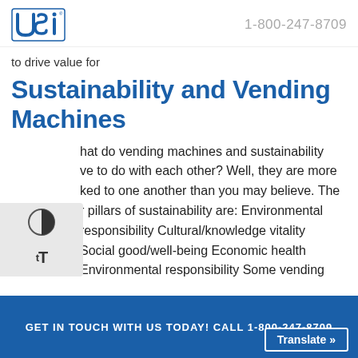USi logo | 1-800-247-8709
to drive value for
Sustainability and Vending Machines
[Figure (other): Accessibility widget with contrast toggle and text size controls]
What do vending machines and sustainability have to do with each other? Well, they are more linked to one another than you may believe. The four pillars of sustainability are: Environmental responsibility Cultural/knowledge vitality Social good/well-being Economic health Environmental responsibility Some vending
GET IN TOUCH WITH US TODAY! CALL 1-800-247-8709 | Translate »